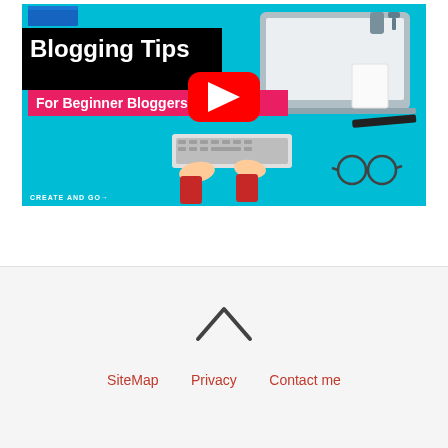[Figure (screenshot): YouTube video thumbnail for 'Blogging Tips For Beginner Bloggers' by Create and Go, featuring a teal background with a laptop, keyboard, coffee, and office items, with a red YouTube play button in the center.]
SiteMap   Privacy   Contact me